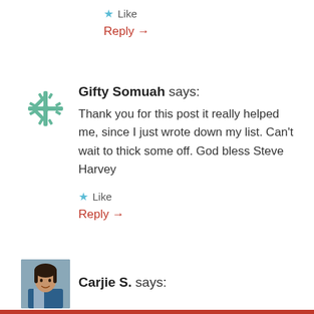★ Like
Reply →
Gifty Somuah says:
Thank you for this post it really helped me, since I just wrote down my list. Can't wait to thick some off. God bless Steve Harvey
★ Like
Reply →
Carjie S. says: